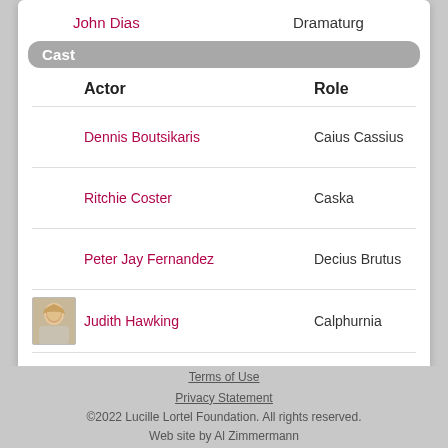John Dias    Dramaturg
Cast
|  | Actor | Role |
| --- | --- | --- |
|  | Dennis Boutsikaris | Caius Cassius |
|  | Ritchie Coster | Caska |
|  | Peter Jay Fernandez | Decius Brutus |
| [photo] | Judith Hawking | Calphurnia |
|  | Colette Kilroy | Portia |
|  | David McCallum | Julius Caesar |
|  | Jamey Sheridan | Marcus Brutus |
|  | Ching Valdes-Aran | Soothsayer |
|  | Jeffrey Wright | Marc Anthony |
Terms of Use
Privacy Statement
©2022 Lucille Lortel Foundation. All rights reserved.
Web site by Al Zimmermann